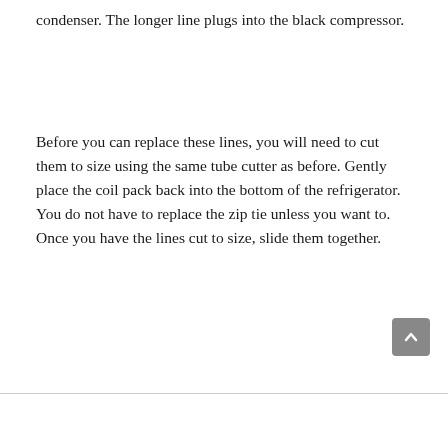condenser. The longer line plugs into the black compressor.
Before you can replace these lines, you will need to cut them to size using the same tube cutter as before. Gently place the coil pack back into the bottom of the refrigerator. You do not have to replace the zip tie unless you want to. Once you have the lines cut to size, slide them together.